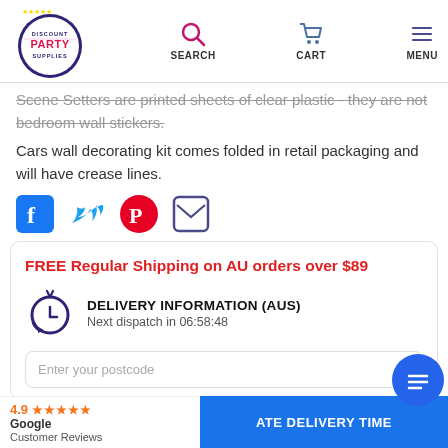Discount Party Supplies — SEARCH | CART | MENU
Scene Setters are printed sheets of clear plastic - they are not bedroom wall stickers.
Cars wall decorating kit comes folded in retail packaging and will have crease lines.
[Figure (other): Social share icons: Facebook, Twitter, Pinterest, Email]
FREE Regular Shipping on AU orders over $89
DELIVERY INFORMATION (AUS)
Next dispatch in 06:58:48
Enter your postcode
4.9 ★★★★★ Google Customer Reviews
ATE DELIVERY TIME